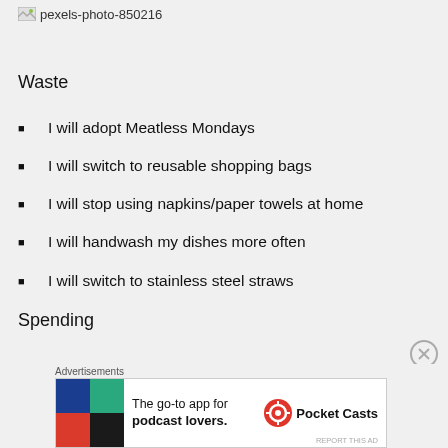[Figure (other): Broken image placeholder labeled pexels-photo-850216 with small broken image icon]
Waste
I will adopt Meatless Mondays
I will switch to reusable shopping bags
I will stop using napkins/paper towels at home
I will handwash my dishes more often
I will switch to stainless steel straws
Spending
Advertisements
[Figure (other): Advertisement banner for Pocket Casts app: 'The go-to app for podcast lovers.' with Pocket Casts logo]